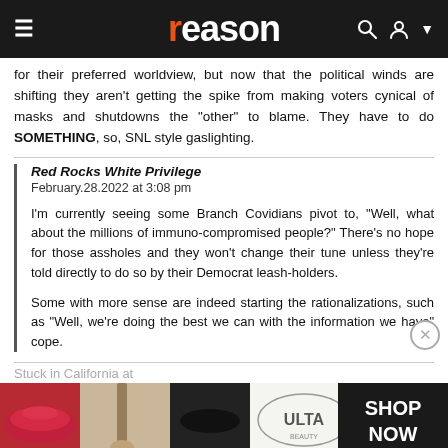reason
for their preferred worldview, but now that the political winds are shifting they aren't getting the spike from making voters cynical of masks and shutdowns the "other" to blame. They have to do SOMETHING, so, SNL style gaslighting.
Red Rocks White Privilege
February.28.2022 at 3:08 pm

I'm currently seeing some Branch Covidians pivot to, "Well, what about the millions of immuno-compromised people?" There's no hope for those assholes and they won't change their tune unless they're told directly to do so by their Democrat leash-holders.

Some with more sense are indeed starting the rationalizations, such as "Well, we're doing the best we can with the information we have" cope.
Stuck in California at
[Figure (photo): ULTA Beauty advertisement banner showing makeup products and eyes with SHOP NOW button]
poor people who can't help themselves that those sorts like…